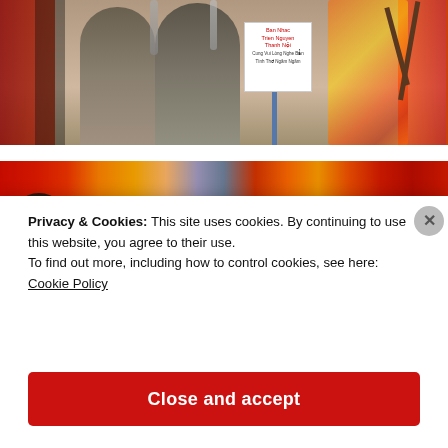[Figure (photo): Two men in suits standing at a podium holding microphones, with a sign on a stick and red decorations with yellow flowers in the background.]
[Figure (photo): Colorful Vietnamese New Year decorations backdrop with red and multicolored banners, a woman visible at the bottom left.]
Privacy & Cookies: This site uses cookies. By continuing to use this website, you agree to their use.
To find out more, including how to control cookies, see here: Cookie Policy
Close and accept